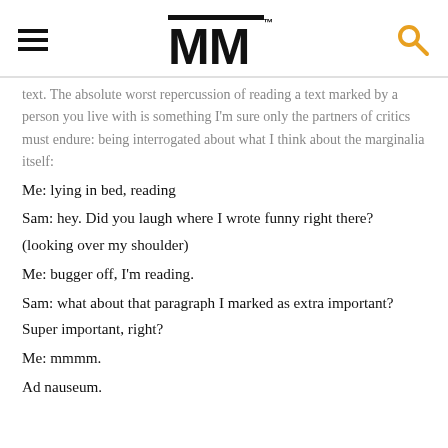MM™ [logo with hamburger menu and search icon]
text. The absolute worst repercussion of reading a text marked by a person you live with is something I'm sure only the partners of critics must endure: being interrogated about what I think about the marginalia itself:
Me: lying in bed, reading
Sam: hey. Did you laugh where I wrote funny right there? (looking over my shoulder)
Me: bugger off, I'm reading.
Sam: what about that paragraph I marked as extra important? Super important, right?
Me: mmmm.
Ad nauseum.